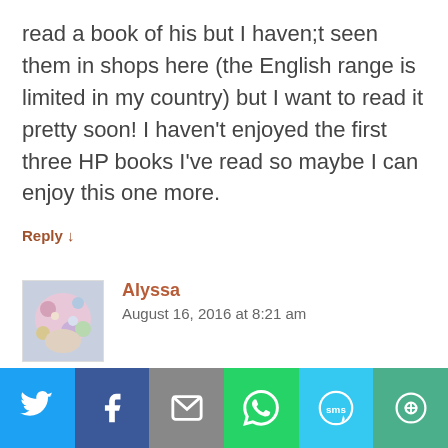read a book of his but I haven;t seen them in shops here (the English range is limited in my country) but I want to read it pretty soon! I haven't enjoyed the first three HP books I've read so maybe I can enjoy this one more.
Reply ↓
[Figure (photo): User avatar for Alyssa — colorful illustrated image]
Alyssa
August 16, 2016 at 8:21 am
[Figure (infographic): Social sharing bar with Twitter, Facebook, Email, WhatsApp, SMS, and other sharing icons]